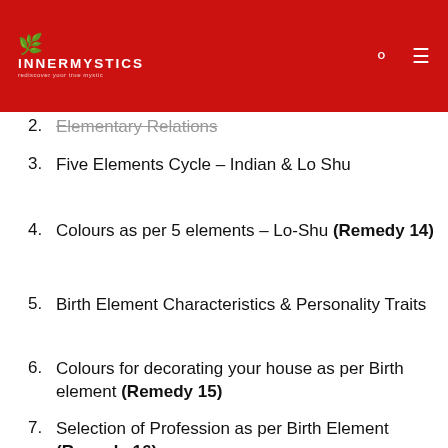INNERMYSTICS
2. Elementary Relations
3. Five Elements Cycle – Indian & Lo Shu
4. Colours as per 5 elements – Lo-Shu (Remedy 14)
5. Birth Element Characteristics & Personality Traits
6. Colours for decorating your house as per Birth element (Remedy 15)
7. Selection of Profession as per Birth Element (Remedy 16)
8. Research on Company Logo